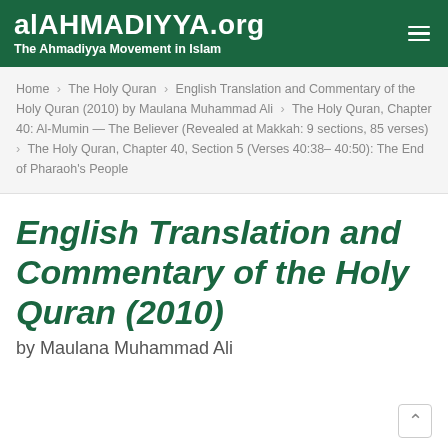alAHMADIYYA.org — The Ahmadiyya Movement in Islam
Home > The Holy Quran > English Translation and Commentary of the Holy Quran (2010) by Maulana Muhammad Ali > The Holy Quran, Chapter 40: Al-Mumin — The Believer (Revealed at Makkah: 9 sections, 85 verses) > The Holy Quran, Chapter 40, Section 5 (Verses 40:38–40:50): The End of Pharaoh's People
English Translation and Commentary of the Holy Quran (2010)
by Maulana Muhammad Ali